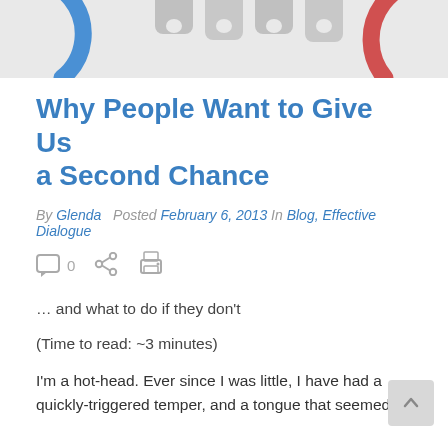[Figure (photo): Top portion of a header image showing colorful puzzle piece connectors — blue arc on left, red arc on right, grey puzzle pieces in center — on a light grey background.]
Why People Want to Give Us a Second Chance
By Glenda  Posted February 6, 2013  In Blog, Effective Dialogue
[Figure (infographic): Social/action icon bar: comment bubble with '0', share icon, print icon]
… and what to do if they don't
(Time to read: ~3 minutes)
I'm a hot-head. Ever since I was little, I have had a quickly-triggered temper, and a tongue that seemed